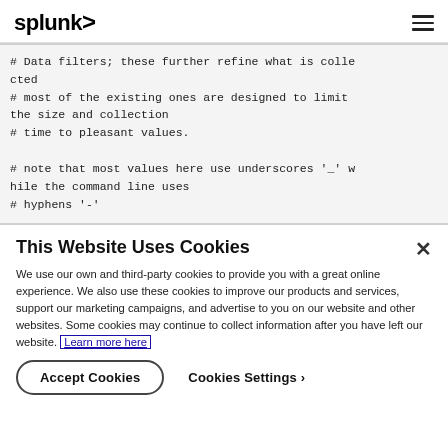splunk>
# Data filters; these further refine what is collected
# most of the existing ones are designed to limit the size and collection
# time to pleasant values.

# note that most values here use underscores '_' while the command line uses
# hyphens '-'
This Website Uses Cookies
We use our own and third-party cookies to provide you with a great online experience. We also use these cookies to improve our products and services, support our marketing campaigns, and advertise to you on our website and other websites. Some cookies may continue to collect information after you have left our website. Learn more here
Accept Cookies   Cookies Settings ›